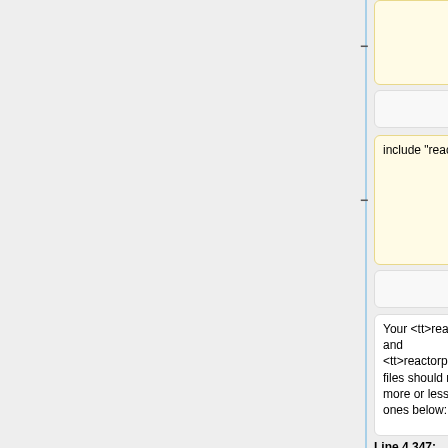[Figure (screenshot): Diff view showing two columns with code/text cells. Left column (yellow highlighted) shows removed content with minus signs. Right column (blue highlighted) shows added content with plus signs. Content includes reactorpool file inclusion and reactor/reactorpool file references.]
include "reactorpool"
<span style="color: Red;">include</span> <span> "reactorpool"
Your <tt>reactor</tt> and <tt>reactorpool</tt> files should now look more or less like the ones below:
Your <tt>reactor</tt> and <tt>reactorpool</tt> files should now look more or less like the ones below:
Line 4 347:
Line 4 347: